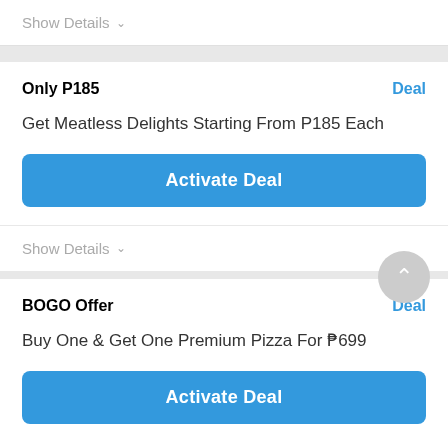Show Details ∨
Only P185
Deal
Get Meatless Delights Starting From P185 Each
Activate Deal
Show Details ∨
BOGO Offer
Deal
Buy One & Get One Premium Pizza For ₱699
Activate Deal